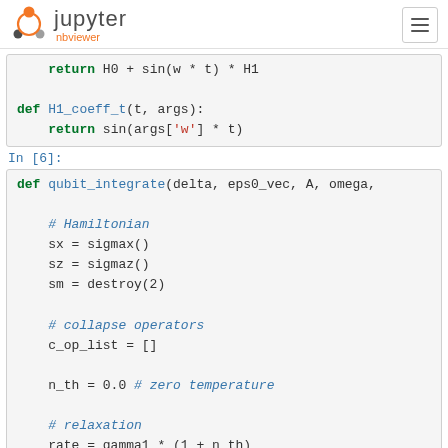[Figure (screenshot): Jupyter nbviewer logo and navigation bar with hamburger menu]
return H0 + sin(w * t) * H1

def H1_coeff_t(t, args):
    return sin(args['w'] * t)
In [6]:
def qubit_integrate(delta, eps0_vec, A, omega,

    # Hamiltonian
    sx = sigmax()
    sz = sigmaz()
    sm = destroy(2)

    # collapse operators
    c_op_list = []

    n_th = 0.0 # zero temperature

    # relaxation
    rate = gamma1 * (1 + n_th)
    if rate > 0.0: